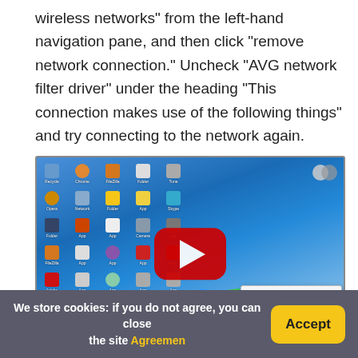wireless networks” from the left-hand navigation pane, and then click “remove network connection.” Uncheck “AVG network filter driver” under the heading “This connection makes use of the following things” and try connecting to the network again.
[Figure (screenshot): A Windows 7 desktop screenshot showing desktop icons on a blue gradient background, the Windows logo, and a YouTube play button overlay in the center. A network connection popup appears in the bottom-right corner.]
We store cookies: if you do not agree, you can close the site Agreemen